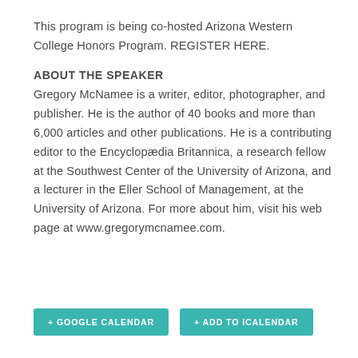This program is being co-hosted Arizona Western College Honors Program. REGISTER HERE.
ABOUT THE SPEAKER
Gregory McNamee is a writer, editor, photographer, and publisher. He is the author of 40 books and more than 6,000 articles and other publications. He is a contributing editor to the Encyclopædia Britannica, a research fellow at the Southwest Center of the University of Arizona, and a lecturer in the Eller School of Management, at the University of Arizona. For more about him, visit his web page at www.gregorymcnamee.com.
+ GOOGLE CALENDAR
+ ADD TO ICALENDAR